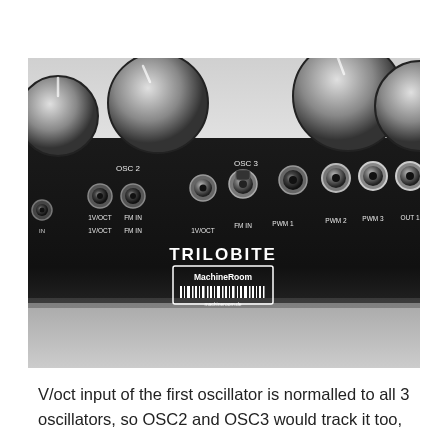[Figure (photo): Close-up photograph of the front panel of the MachineRoom TRILOBITE synthesizer module, showing black metal panel with multiple audio jack inputs/outputs labeled OSC 2, OSC 3, 1V/OCT, FM IN, PWM 1, PWM 2, PWM 3, OUT 1, and the TRILOBITE branding with a MachineRoom logo sticker. Large black knobs are visible at the top.]
V/oct input of the first oscillator is normalled to all 3 oscillators, so OSC2 and OSC3 would track it too,